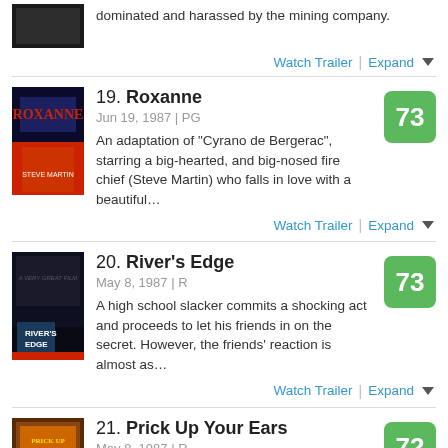dominated and harassed by the mining company.
Watch Trailer | Expand
19. Roxanne
Jun 19, 1987 | PG
An adaptation of "Cyrano de Bergerac", starring a big-hearted, and big-nosed fire chief (Steve Martin) who falls in love with a beautiful...
Score: 73
Watch Trailer | Expand
20. River's Edge
May 8, 1987 | R
A high school slacker commits a shocking act and proceeds to let his friends in on the secret. However, the friends' reaction is almost as...
Score: 73
Watch Trailer | Expand
21. Prick Up Your Ears
May 8, 1987 | R
Score: 72